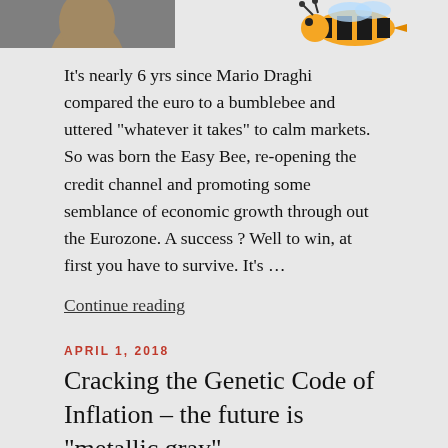[Figure (photo): Top partial images: left side shows a partial photo of a person, right side shows a cartoon bumblebee illustration]
It’s nearly 6 yrs since Mario Draghi compared the euro to a bumblebee and uttered “whatever it takes” to calm markets. So was born the Easy Bee, re-opening the credit channel and promoting some semblance of economic growth through out the Eurozone. A success ? Well to win, at first you have to survive. It’s…
Continue reading
APRIL 1, 2018
Cracking the Genetic Code of Inflation – the future is “metallic gray”
[Figure (illustration): Partial illustration showing a DNA double helix graphic on the left and text 'The Four "Genetic" Bases' with a green bar and label 'demographics' on the right]